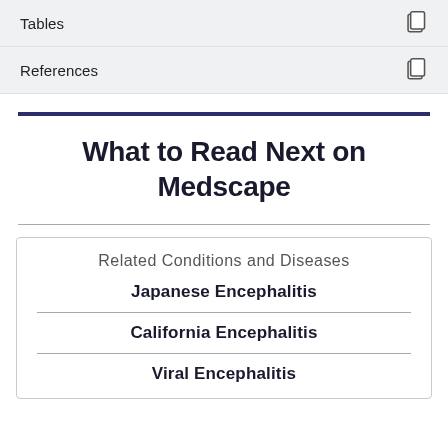Tables
References
What to Read Next on Medscape
Related Conditions and Diseases
Japanese Encephalitis
California Encephalitis
Viral Encephalitis